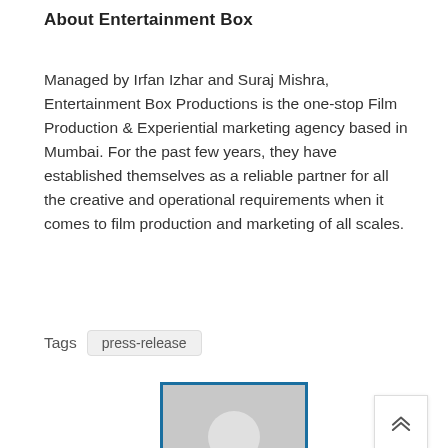About Entertainment Box
Managed by Irfan Izhar and Suraj Mishra, Entertainment Box Productions is the one-stop Film Production & Experiential marketing agency based in Mumbai. For the past few years, they have established themselves as a reliable partner for all the creative and operational requirements when it comes to film production and marketing of all scales.
Tags  press-release
[Figure (illustration): Default user avatar placeholder image inside a blue border frame, showing a grey silhouette of a person (head and shoulders) on a grey background. A white scroll-to-top button with double chevron up arrows is visible to the right.]